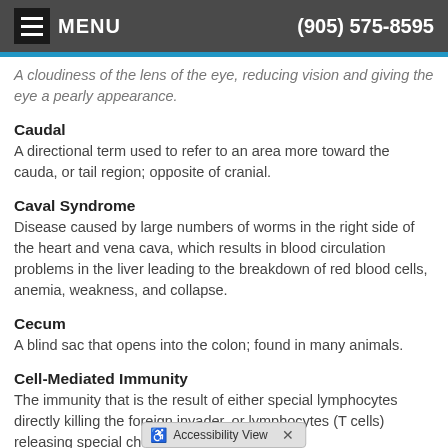MENU | (905) 575-8595
A cloudiness of the lens of the eye, reducing vision and giving the eye a pearly appearance.
Caudal
A directional term used to refer to an area more toward the cauda, or tail region; opposite of cranial.
Caval Syndrome
Disease caused by large numbers of worms in the right side of the heart and vena cava, which results in blood circulation problems in the liver leading to the breakdown of red blood cells, anemia, weakness, and collapse.
Cecum
A blind sac that opens into the colon; found in many animals.
Cell-Mediated Immunity
The immunity that is the result of either special lymphocytes directly killing the foreign invader, or lymphocytes (T cells) releasing special chemicals